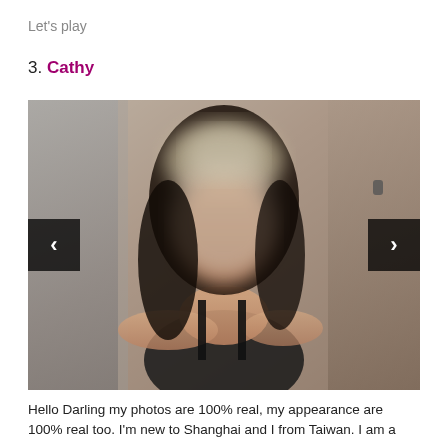Let's play
3. Cathy
[Figure (photo): A blurred photo of a young woman with long dark hair and light-colored bangs, wearing a black tank top, standing indoors. Face is blurred for privacy. Image carousel with left and right navigation arrows.]
Hello Darling my photos are 100% real, my appearance are 100% real too. I'm new to Shanghai and I from Taiwan. I am a